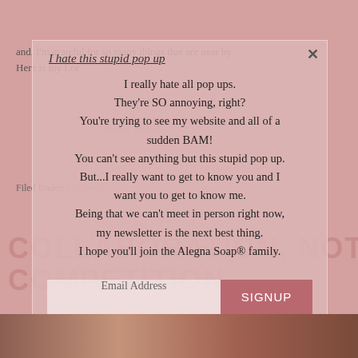and. I'm grateful for so many things that are near by. Here is my Lor
READ MORE
Filed Under: Gratitude
COLLABORATION, NOT
COMPETITION
I hate this stupid pop up
I really hate all pop ups.
They're SO annoying, right?
You're trying to see my website and all of a sudden BAM!
You can't see anything but this stupid pop up.
But...I really want to get to know you and I want you to get to know me.
Being that we can't meet in person right now, my newsletter is the next best thing.
I hope you'll join the Alegna Soap® family.
Email Address
SIGNUP